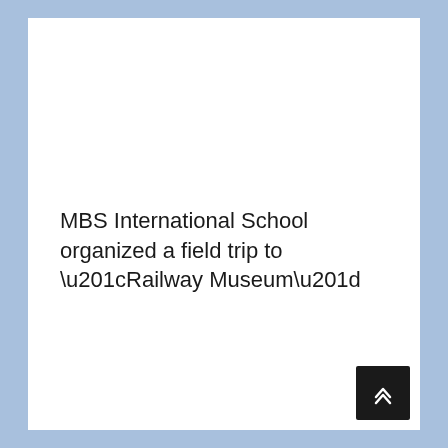MBS International School organized a field trip to “Railway Museum”